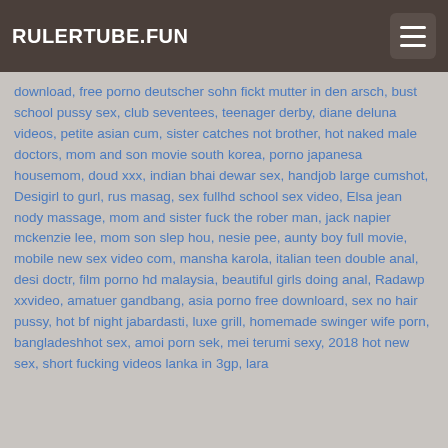RULERTUBE.FUN
download, free porno deutscher sohn fickt mutter in den arsch, bust school pussy sex, club seventees, teenager derby, diane deluna videos, petite asian cum, sister catches not brother, hot naked male doctors, mom and son movie south korea, porno japanesa housemom, doud xxx, indian bhai dewar sex, handjob large cumshot, Desigirl to gurl, rus masag, sex fullhd school sex video, Elsa jean nody massage, mom and sister fuck the rober man, jack napier mckenzie lee, mom son slep hou, nesie pee, aunty boy full movie, mobile new sex video com, mansha karola, italian teen double anal, desi doctr, film porno hd malaysia, beautiful girls doing anal, Radawp xxvideo, amatuer gandbang, asia porno free downloard, sex no hair pussy, hot bf night jabardasti, luxe grill, homemade swinger wife porn, bangladeshhot sex, amoi porn sek, mei terumi sexy, 2018 hot new sex, short fucking videos lanka in 3gp, lara